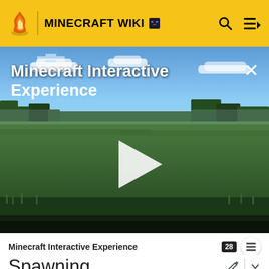MINECRAFT WIKI
[Figure (screenshot): Minecraft Interactive Experience video thumbnail showing a Minecraft landscape with green grass fields, trees in the background, blue sky with clouds, a white play button triangle in the center, and a close (X) button in the top right. Title text 'Minecraft Interactive Experience' is overlaid in white at the top left.]
Minecraft Interactive Experience
Spawning
In Java Edition, schools of 2 to 4 glow squid spawn in